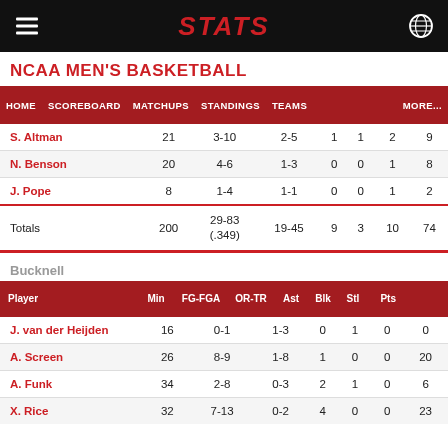STATS
NCAA MEN'S BASKETBALL
| HOME | SCOREBOARD | MATCHUPS | STANDINGS | TEAMS |  | MORE... |
| --- | --- | --- | --- | --- | --- | --- |
| S. Altman |  | 21 | 3-10 | 2-5 | 1 | 1 | 2 | 9 |
| N. Benson |  | 20 | 4-6 | 1-3 | 0 | 0 | 1 | 8 |
| J. Pope |  | 8 | 1-4 | 1-1 | 0 | 0 | 1 | 2 |
| Totals |  | 200 | 29-83 (.349) | 19-45 | 9 | 3 | 10 | 74 |
Bucknell
| Player | Min | FG-FGA | OR-TR | Ast | Blk | Stl | Pts |
| --- | --- | --- | --- | --- | --- | --- | --- |
| J. van der Heijden | 16 | 0-1 | 1-3 | 0 | 1 | 0 | 0 |
| A. Screen | 26 | 8-9 | 1-8 | 1 | 0 | 0 | 20 |
| A. Funk | 34 | 2-8 | 0-3 | 2 | 1 | 0 | 6 |
| X. Rice | 32 | 7-13 | 0-2 | 4 | 0 | 0 | 23 |